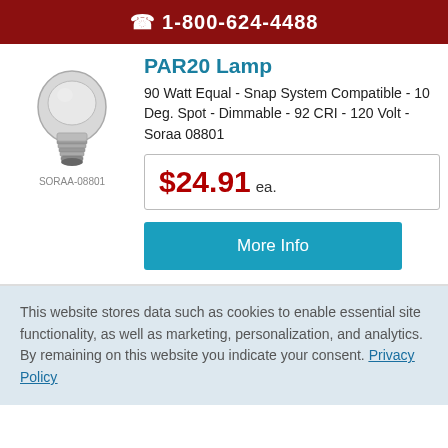1-800-624-4488
[Figure (photo): PAR20 LED light bulb product photo on white background]
SORAA-08801
PAR20 Lamp
90 Watt Equal - Snap System Compatible - 10 Deg. Spot - Dimmable - 92 CRI - 120 Volt - Soraa 08801
$24.91 ea.
More Info
This website stores data such as cookies to enable essential site functionality, as well as marketing, personalization, and analytics. By remaining on this website you indicate your consent. Privacy Policy